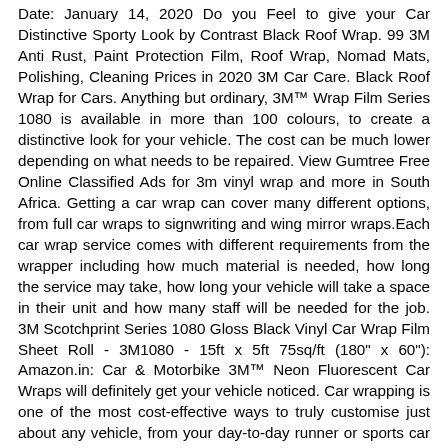Date: January 14, 2020 Do you Feel to give your Car Distinctive Sporty Look by Contrast Black Roof Wrap. 99 3M Anti Rust, Paint Protection Film, Roof Wrap, Nomad Mats, Polishing, Cleaning Prices in 2020 3M Car Care. Black Roof Wrap for Cars. Anything but ordinary, 3M™ Wrap Film Series 1080 is available in more than 100 colours, to create a distinctive look for your vehicle. The cost can be much lower depending on what needs to be repaired. View Gumtree Free Online Classified Ads for 3m vinyl wrap and more in South Africa. Getting a car wrap can cover many different options, from full car wraps to signwriting and wing mirror wraps.Each car wrap service comes with different requirements from the wrapper including how much material is needed, how long the service may take, how long your vehicle will take a space in their unit and how many staff will be needed for the job. 3M Scotchprint Series 1080 Gloss Black Vinyl Car Wrap Film Sheet Roll - 3M1080 - 15ft x 5ft 75sq/ft (180" x 60"): Amazon.in: Car & Motorbike 3M™ Neon Fluorescent Car Wraps will definitely get your vehicle noticed. Car wrapping is one of the most cost-effective ways to truly customise just about any vehicle, from your day-to-day runner or sports car to a van or commercial vehicle. Car wrap providers can handle every stage of the process, from designing your wrap to installation. Spending £3,000 – £5,000 on a car wrap takes you into the executive range. Our wraps range from corporate advertising to the guy with that insanely hot car that just drove past you. A white or red car, however, requires more time